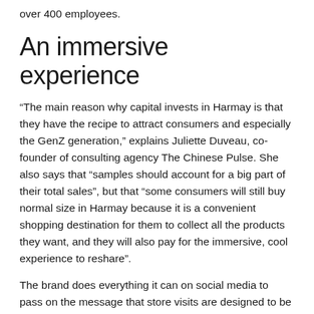over 400 employees.
An immersive experience
“The main reason why capital invests in Harmay is that they have the recipe to attract consumers and especially the GenZ generation,” explains Juliette Duveau, co-founder of consulting agency The Chinese Pulse. She also says that “samples should account for a big part of their total sales”, but that “some consumers will still buy normal size in Harmay because it is a convenient shopping destination for them to collect all the products they want, and they will also pay for the immersive, cool experience to reshare”.
The brand does everything it can on social media to pass on the message that store visits are designed to be the most memorable possible. Every Harmay store has its own aesthetic, artistic, and friendly world where buyers can stroll (no shop assistant to help) and even have something to eat.